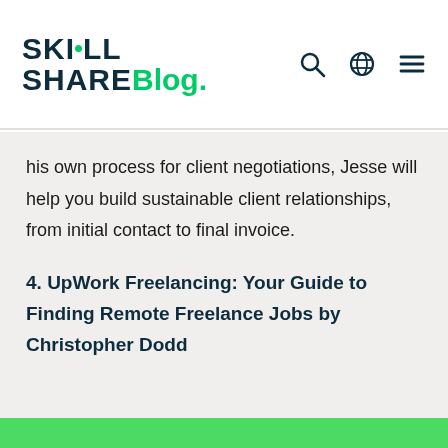Skill Share Blog.
his own process for client negotiations, Jesse will help you build sustainable client relationships, from initial contact to final invoice.
4. UpWork Freelancing: Your Guide to Finding Remote Freelance Jobs by Christopher Dodd
[Figure (photo): Bottom strip showing green and photo background at bottom of page]